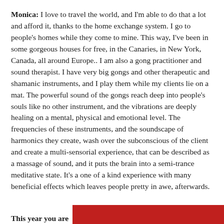Monica: I love to travel the world, and I'm able to do that a lot and afford it, thanks to the home exchange system. I go to people's homes while they come to mine. This way, I've been in some gorgeous houses for free, in the Canaries, in New York, Canada, all around Europe.. I am also a gong practitioner and sound therapist. I have very big gongs and other therapeutic and shamanic instruments, and I play them while my clients lie on a mat. The powerful sound of the gongs reach deep into people's souls like no other instrument, and the vibrations are deeply healing on a mental, physical and emotional level. The frequencies of these instruments, and the soundscape of harmonics they create, wash over the subconscious of the client and create a multi-sensorial experience, that can be described as a massage of sound, and it puts the brain into a semi-trance meditative state. It's a one of a kind experience with many beneficial effects which leaves people pretty in awe, afterwards.
This year you are